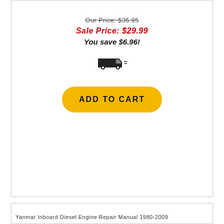Our Price: $36.95
Sale Price: $29.99
You save $6.96!
[Figure (other): Shipping truck icon with motion lines]
ADD TO CART
[Figure (other): Large blank white product image area]
Yanmar Inboard Diesel Engine Repair Manual 1980-2009